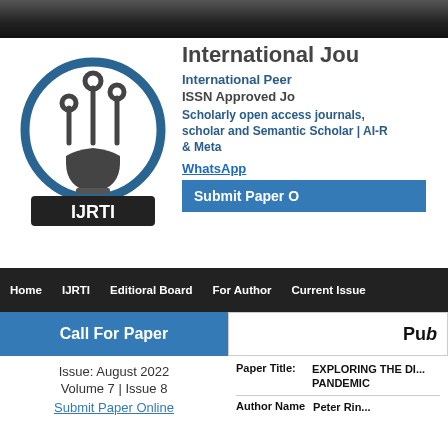[Figure (logo): IJRTI lightbulb logo with circuit board design and IJRTI text at the bottom]
International Jou...
International Peer...
ISSN Approved Jo...
Scholarly open access journals, scholar and Semantic Scholar | AI-R... & Meta...
WhatsApp
Submit Paper O...
Home | IJRTI | Editioral Board | For Author | Current Issue...
Call For Paper
Pub...
Issue: August 2022
Volume 7 | Issue 8
Submit Paper Online
Paper Title:
EXPLORING THE DI... PANDEMIC